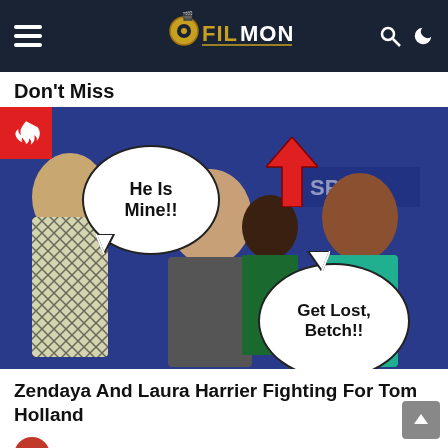Filmonger — navigation bar with hamburger menu, logo, search and dark mode icons
Don't Miss
[Figure (photo): Meme photo showing Zendaya and Laura Harrier with Tom Holland at a Spider-Man press event. Zendaya has a speech bubble saying 'He Is Mine!!' and Laura Harrier (indicated by a red arrow) has a speech bubble saying 'Get Lost, Betch!!' A red fire badge icon is in the top-left corner.]
Zendaya And Laura Harrier Fighting For Tom Holland